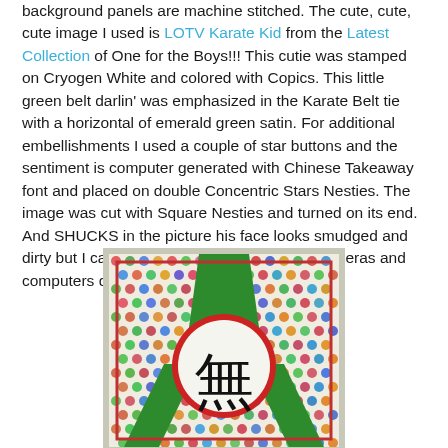background panels are machine stitched. The cute, cute, cute image I used is LOTV Karate Kid from the Latest Collection of One for the Boys!!! This cutie was stamped on Cryogen White and colored with Copics. This little green belt darlin' was emphasized in the Karate Belt tie with a horizontal of emerald green satin. For additional embellishments I used a couple of star buttons and the sentiment is computer generated with Chinese Takeaway font and placed on double Concentric Stars Nesties. The image was cut with Square Nesties and turned on its end. And SHUCKS in the picture his face looks smudged and dirty but I can't see it at all in real life...lol...Cameras and computers drive me NUTZ!!!!!
[Figure (photo): A handmade greeting card featuring a karate theme. The card has a colorful diamond/dot patterned background. A green karate belt is displayed prominently. In the center is a circular element with a red border and white interior containing a Chinese character in black calligraphy.]